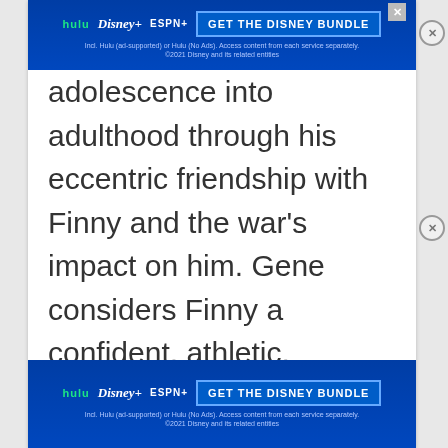[Figure (screenshot): Top Disney Bundle advertisement banner (Hulu, Disney+, ESPN+) with blue background and GET THE DISNEY BUNDLE CTA button]
adolescence into adulthood through his eccentric friendship with Finny and the war's impact on him. Gene considers Finny a confident, athletic, audacious and easily liked person. Often Finny pushes Gene out of his comfort zone by doing crazy activities like jumping off the tree next to the Devon River where Finny's accident
[Figure (screenshot): Bottom Disney Bundle advertisement banner (Hulu, Disney+, ESPN+) with blue background and GET THE DISNEY BUNDLE CTA button]